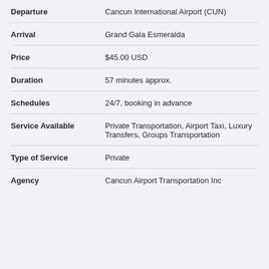| Field | Value |
| --- | --- |
| Departure | Cancun International Airport (CUN) |
| Arrival | Grand Gala Esmeralda |
| Price | $45.00 USD |
| Duration | 57 minutes approx. |
| Schedules | 24/7, booking in advance |
| Service Available | Private Transportation, Airport Taxi, Luxury Transfers, Groups Transportation |
| Type of Service | Private |
| Agency | Cancun Airport Transportation Inc |